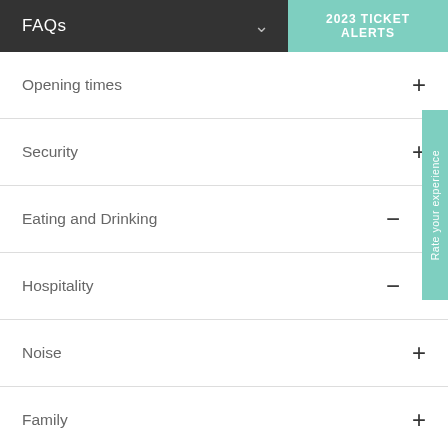FAQs
2023 TICKET ALERTS
Opening times
Security
Eating and Drinking
Hospitality
Noise
Family
Pets
Rate your experience